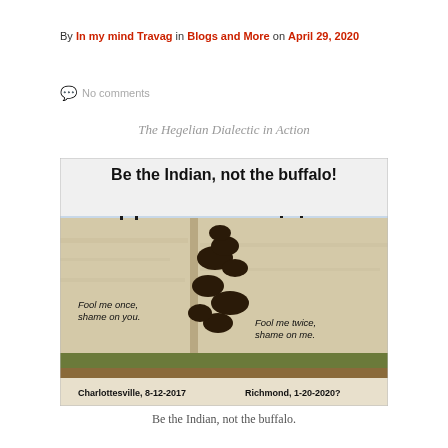By In my mind Travag in Blogs and More on April 29, 2020
💬 No comments
The Hegelian Dialectic in Action
[Figure (photo): Image showing buffaloes falling off a cliff with text: 'Be the Indian, not the buffalo!' and 'Fool me once, shame on you.' / 'Fool me twice, shame on me.' Bottom text: 'Charlottesville, 8-12-2017   Richmond, 1-20-2020?']
Be the Indian, not the buffalo.